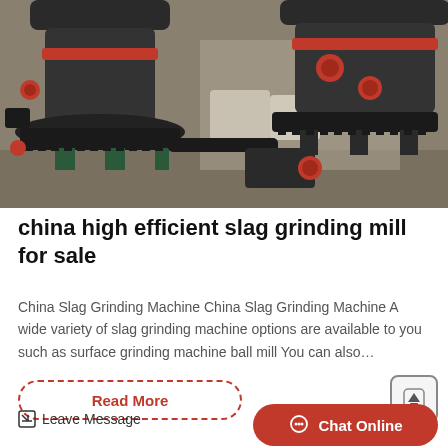[Figure (photo): Industrial slag grinding mill machines in a factory setting — large dark cylindrical vertical grinding mills with red accent rings, mounted on metal frames, in a warehouse environment]
china high efficient slag grinding mill for sale
China Slag Grinding Machine China Slag Grinding Machine A wide variety of slag grinding machine options are available to you such as surface grinding machine ball mill You can also…
Read More
Leave Message
Chat Online